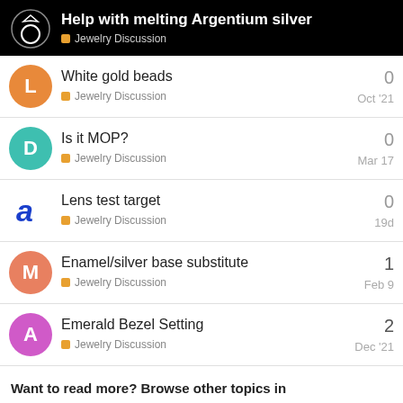Help with melting Argentium silver — Jewelry Discussion
White gold beads — Jewelry Discussion — Oct '21 — 0
Is it MOP? — Jewelry Discussion — Mar 17 — 0
Lens test target — Jewelry Discussion — 19d — 0
Enamel/silver base substitute — Jewelry Discussion — Feb 9 — 1
Emerald Bezel Setting — Jewelry Discussion — Dec '21 — 2
Want to read more? Browse other topics in Jewelry Discussion or view latest topics.